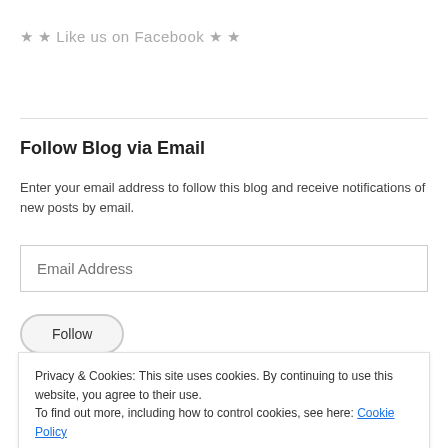★ ★ Like us on Facebook ★ ★
Follow Blog via Email
Enter your email address to follow this blog and receive notifications of new posts by email.
Email Address
Follow
Privacy & Cookies: This site uses cookies. By continuing to use this website, you agree to their use. To find out more, including how to control cookies, see here: Cookie Policy
Close and accept
[Figure (photo): Partial Facebook banner/image strip at bottom]